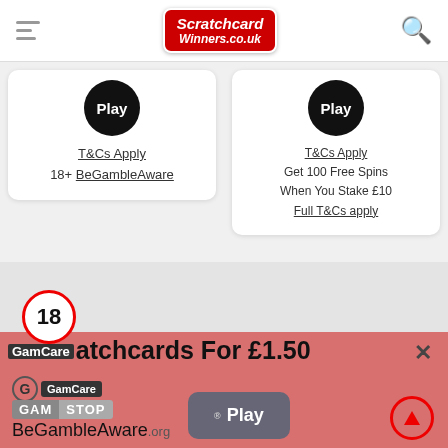ScratchcardWinners.co.uk
T&Cs Apply
18+ BeGambleAware
T&Cs Apply
Get 100 Free Spins When You Stake £10
Full T&Cs apply
[Figure (screenshot): Age 18+ restriction badge, a red circle with '18' inside]
30 Scratchcards For £1.50
[Figure (logo): GamCare logo]
[Figure (logo): GamStop logo]
BeGambleAware.org
[Figure (screenshot): Play button (dark grey rounded rectangle)]
[Figure (screenshot): Scroll to top button (red circle with upward arrow)]